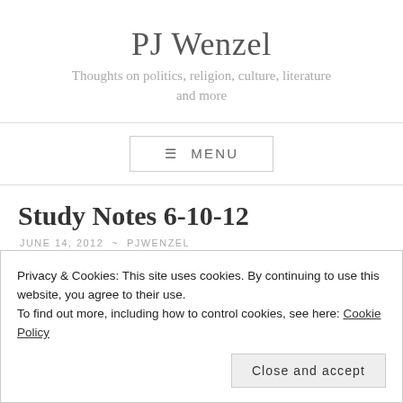PJ Wenzel
Thoughts on politics, religion, culture, literature and more
≡ MENU
Study Notes 6-10-12
JUNE 14, 2012 ~ PJWENZEL
Privacy & Cookies: This site uses cookies. By continuing to use this website, you agree to their use.
To find out more, including how to control cookies, see here: Cookie Policy
Close and accept